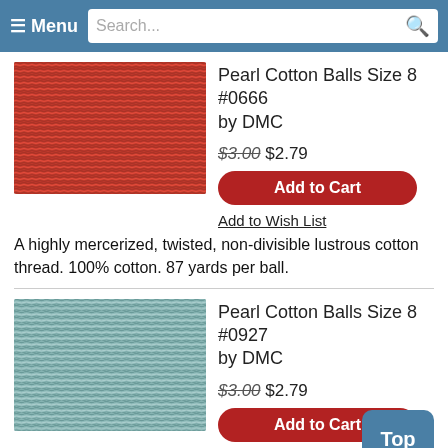Menu | Search...
[Figure (photo): Red pearl cotton thread swatch]
Pearl Cotton Balls Size 8 #0666 by DMC
$3.00 $2.79
Add to Cart
Add to Wish List
A highly mercerized, twisted, non-divisible lustrous cotton thread. 100% cotton. 87 yards per ball.
[Figure (photo): Teal/light blue pearl cotton thread swatch]
Pearl Cotton Balls Size 8 #0927 by DMC
$3.00 $2.79
Add to Cart
Add to Wish List